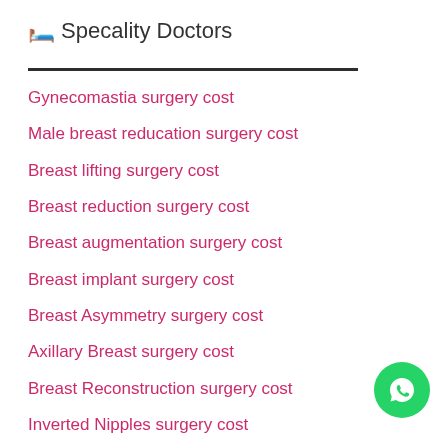🛏️ Specality Doctors
Gynecomastia surgery cost
Male breast reducation surgery cost
Breast lifting surgery cost
Breast reduction surgery cost
Breast augmentation surgery cost
Breast implant surgery cost
Breast Asymmetry surgery cost
Axillary Breast surgery cost
Breast Reconstruction surgery cost
Inverted Nipples surgery cost
Fibroadenoma surgery cost
[Figure (logo): WhatsApp green circle button with phone icon]